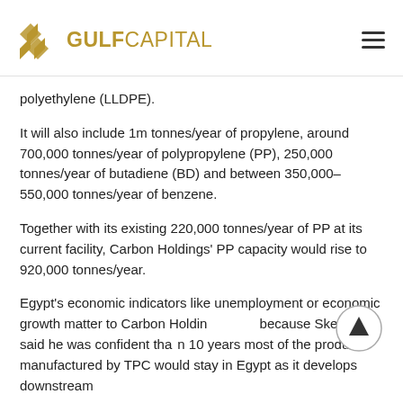Gulf Capital
polyethylene (LLDPE).
It will also include 1m tonnes/year of propylene, around 700,000 tonnes/year of polypropylene (PP), 250,000 tonnes/year of butadiene (BD) and between 350,000-550,000 tonnes/year of benzene.
Together with its existing 220,000 tonnes/year of PP at its current facility, Carbon Holdings' PP capacity would rise to 920,000 tonnes/year.
Egypt's economic indicators like unemployment or economic growth matter to Carbon Holdings because Skelley said he was confident that in 10 years most of the products manufactured by TPC would stay in Egypt as it develops downstream